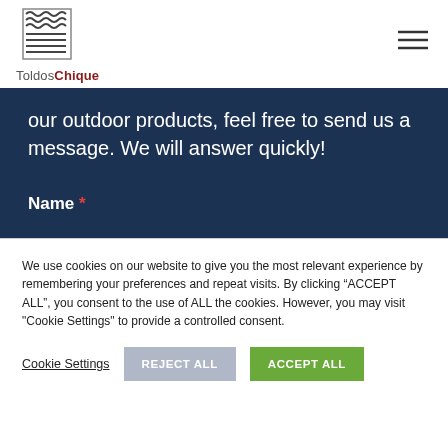[Figure (logo): ToldosChique logo with wavy/horizontal line icon above text 'ToldosChique']
our outdoor products, feel free to send us a message. We will answer quickly!
Name *
We use cookies on our website to give you the most relevant experience by remembering your preferences and repeat visits. By clicking “ACCEPT ALL”, you consent to the use of ALL the cookies. However, you may visit "Cookie Settings" to provide a controlled consent.
Cookie Settings | REJECT ALL | ACCEPT ALL